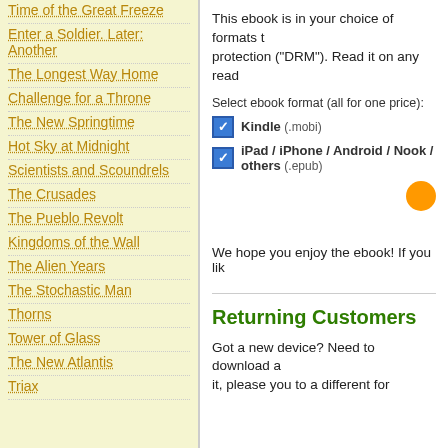Time of the Great Freeze
Enter a Soldier. Later: Another
The Longest Way Home
Challenge for a Throne
The New Springtime
Hot Sky at Midnight
Scientists and Scoundrels
The Crusades
The Pueblo Revolt
Kingdoms of the Wall
The Alien Years
The Stochastic Man
Thorns
Tower of Glass
The New Atlantis
Triax
This ebook is in your choice of formats that without any digital rights management protection ("DRM"). Read it on any read
Select ebook format (all for one price):
Kindle (.mobi)
iPad / iPhone / Android / Nook / others (.epub)
We hope you enjoy the ebook! If you lik
Returning Customers
Got a new device? Need to download a it, please you to a different for